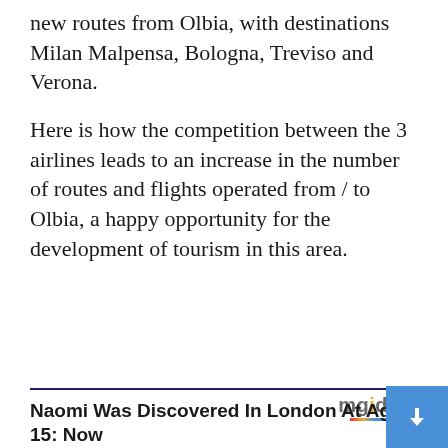new routes from Olbia, with destinations Milan Malpensa, Bologna, Treviso and Verona.
Here is how the competition between the 3 airlines leads to an increase in the number of routes and flights operated from / to Olbia, a happy opportunity for the development of tourism in this area.
[Figure (logo): mgid logo with colorful underline and play button arrow icon]
Naomi Was Discovered In London At Age 15: Now